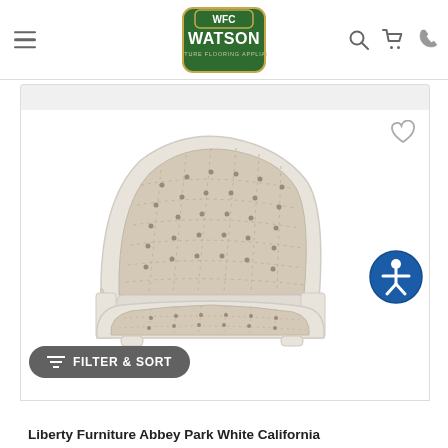WFC Watson Furniture Flooring Appliances
[Figure (screenshot): Watson Furniture online store product listing page showing a Liberty Furniture Abbey Park White California King sleigh bed with tufted beige upholstered headboard and footboard on a white wood frame]
Liberty Furniture Abbey Park White California